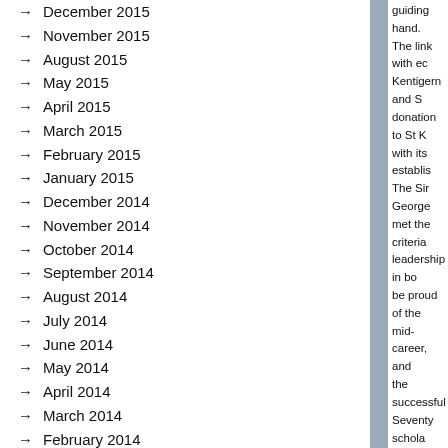December 2015
November 2015
August 2015
May 2015
April 2015
March 2015
February 2015
January 2015
December 2014
November 2014
October 2014
September 2014
August 2014
July 2014
June 2014
May 2014
April 2014
March 2014
February 2014
December 2013
November 2013
October 2013
guiding hand. The link with ec Kentigern and S donation to St K with its establis The Sir George met the criteria leadership in bo be proud of the mid-career, and the successful Seventy schola start the journe continue to der A rather nice to involvement of House, Aucklar for the library t brought them t opportunities t Giving does no